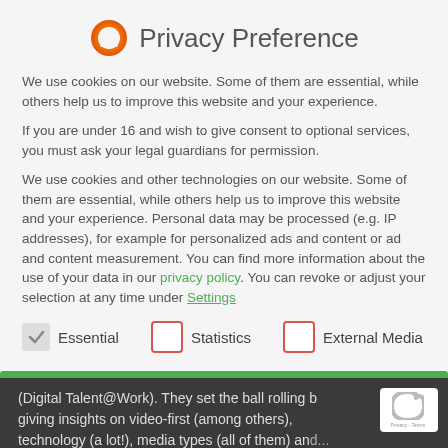Privacy Preference
We use cookies on our website. Some of them are essential, while others help us to improve this website and your experience.
If you are under 16 and wish to give consent to optional services, you must ask your legal guardians for permission.
We use cookies and other technologies on our website. Some of them are essential, while others help us to improve this website and your experience. Personal data may be processed (e.g. IP addresses), for example for personalized ads and content or ad and content measurement. You can find more information about the use of your data in our privacy policy. You can revoke or adjust your selection at any time under Settings
Essential
Statistics
External Media
(Digital Talent@Work). They set the ball rolling by giving insights on video-first (among others), technology (a lot!), media types (all of them) and...